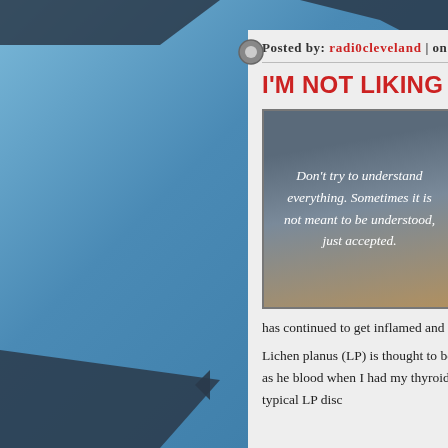Posted by: radiOcleveland | on Aug
I'M NOT LIKING LICHEN PLANUS
[Figure (illustration): Motivational quote image with dark blue-grey sky background: 'Don't try to understand everything. Sometimes it is not meant to be understood, just accepted.']
We all have some bragging someone take precedent.
I have shared that a common disease inside your mouth. is, what I have and hands, and mouth. has continued to get inflamed and never goes away. a flare-up which I am currently experiencing.
Lichen planus (LP) is thought to be an autoimmune di by drugs or be associated with disorders such as he blood when I had my thyroid surgery in 1974. How 2010/11. The research shows that the typical LP disc